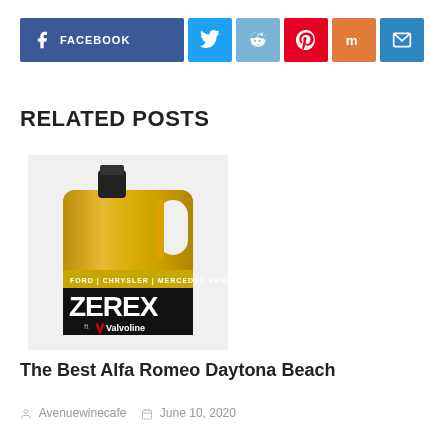[Figure (other): Social sharing buttons row: Facebook (dark blue), Twitter (light blue bird icon), Reddit (medium blue alien icon), Pinterest (red P icon), Mix (orange M icon), Email (blue envelope icon)]
RELATED POSTS
[Figure (photo): Gold plastic jug of Zerex by Valvoline coolant/antifreeze product with black cap and black label area showing ZEREX brand name and Valvoline logo. Label says FORD | CHRYSLER | MERCEDES-BENZ | HD DIESEL.]
The Best Alfa Romeo Daytona Beach
Avenuewinecafe   June 10, 2020